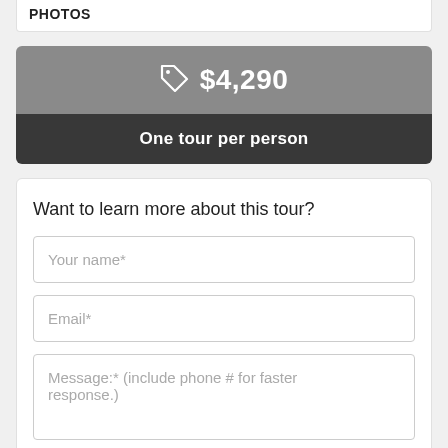PHOTOS
$4,290
One tour per person
Want to learn more about this tour?
Your name*
Email*
Message:* (include phone # for faster response.)